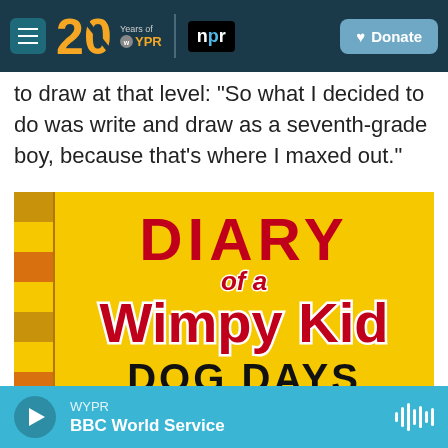WYPR 20 Years of WYPR | npr | Donate
to draw at that level: "So what I decided to do was write and draw as a seventh-grade boy, because that's where I maxed out."
[Figure (photo): Book cover of Diary of a Wimpy Kid: Dog Days - yellow cover with red striped spine and large red text]
WYPR BBC World Service